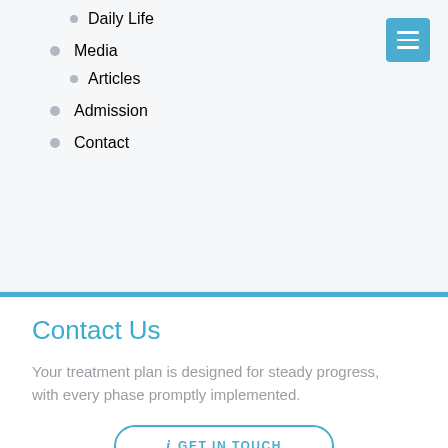Daily Life
Media
Articles
Admission
Contact
Contact Us
Your treatment plan is designed for steady progress, with every phase promptly implemented.
GET IN TOUCH